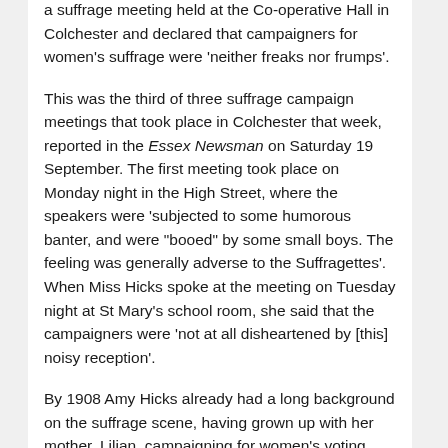a suffrage meeting held at the Co-operative Hall in Colchester and declared that campaigners for women's suffrage were 'neither freaks nor frumps'.
This was the third of three suffrage campaign meetings that took place in Colchester that week, reported in the Essex Newsman on Saturday 19 September. The first meeting took place on Monday night in the High Street, where the speakers were 'subjected to some humorous banter, and were "booed" by some small boys. The feeling was generally adverse to the Suffragettes'. When Miss Hicks spoke at the meeting on Tuesday night at St Mary's school room, she said that the campaigners were 'not at all disheartened by [this] noisy reception'.
By 1908 Amy Hicks already had a long background on the suffrage scene, having grown up with her mother, Lilian, campaigning for women's voting rights. Lilian was born in 1853 in Colchester, to parents Edward and Thirza Smith. In a 1910 interview with The Vote, the magazine of the Women's Freedom League, Lilian said that her father was